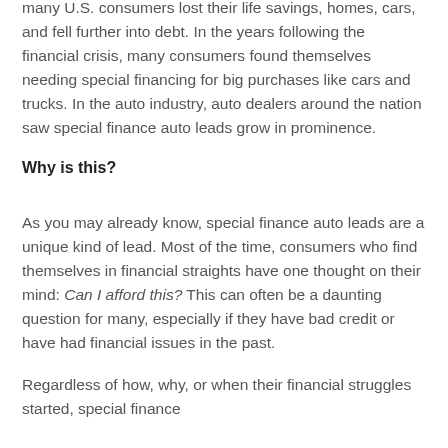In the infamous stock market crash of 2008, many U.S. consumers lost their life savings, homes, cars, and fell further into debt. In the years following the financial crisis, many consumers found themselves needing special financing for big purchases like cars and trucks. In the auto industry, auto dealers around the nation saw special finance auto leads grow in prominence.
Why is this?
As you may already know, special finance auto leads are a unique kind of lead. Most of the time, consumers who find themselves in financial straights have one thought on their mind: Can I afford this? This can often be a daunting question for many, especially if they have bad credit or have had financial issues in the past.
Regardless of how, why, or when their financial struggles started, special finance